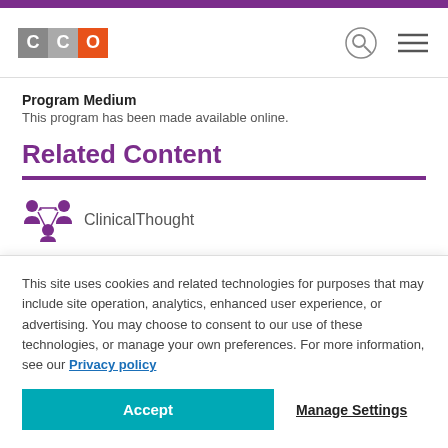[Figure (logo): CCO logo with grey C, grey C, and orange O squares]
Program Medium
This program has been made available online.
Related Content
[Figure (illustration): Purple ClinicalThought icon showing connected people]
ClinicalThought
Insights on New Data With BTK Inhibitors
This site uses cookies and related technologies for purposes that may include site operation, analytics, enhanced user experience, or advertising. You may choose to consent to our use of these technologies, or manage your own preferences. For more information, see our Privacy policy
Accept
Manage Settings